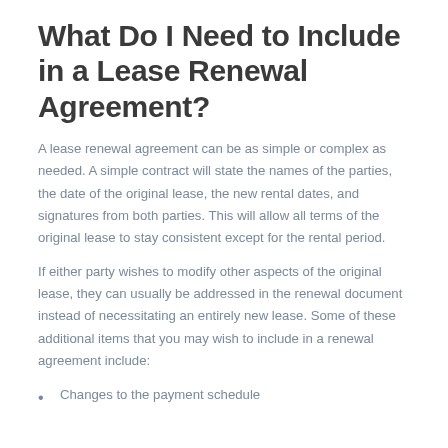What Do I Need to Include in a Lease Renewal Agreement?
A lease renewal agreement can be as simple or complex as needed. A simple contract will state the names of the parties, the date of the original lease, the new rental dates, and signatures from both parties. This will allow all terms of the original lease to stay consistent except for the rental period.
If either party wishes to modify other aspects of the original lease, they can usually be addressed in the renewal document instead of necessitating an entirely new lease. Some of these additional items that you may wish to include in a renewal agreement include:
Changes to the payment schedule